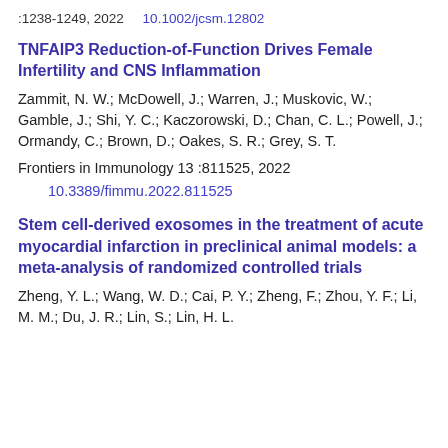:1238-1249, 2022    10.1002/jcsm.12802
TNFAIP3 Reduction-of-Function Drives Female Infertility and CNS Inflammation
Zammit, N. W.; McDowell, J.; Warren, J.; Muskovic, W.; Gamble, J.; Shi, Y. C.; Kaczorowski, D.; Chan, C. L.; Powell, J.; Ormandy, C.; Brown, D.; Oakes, S. R.; Grey, S. T.
Frontiers in Immunology 13 :811525, 2022
10.3389/fimmu.2022.811525
Stem cell-derived exosomes in the treatment of acute myocardial infarction in preclinical animal models: a meta-analysis of randomized controlled trials
Zheng, Y. L.; Wang, W. D.; Cai, P. Y.; Zheng, F.; Zhou, Y. F.; Li, M. M.; Du, J. R.; Lin, S.; Lin, H. L.